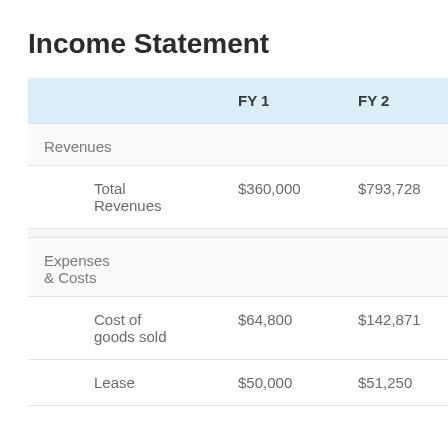Income Statement
|  |  | FY 1 | FY 2 | FY ... |
| --- | --- | --- | --- | --- |
| Revenues |  |  |  |  |
|  | Total Revenues | $360,000 | $793,728 | $8... |
| Expenses & Costs |  |  |  |  |
|  | Cost of goods sold | $64,800 | $142,871 | $1... |
|  | Lease | $50,000 | $51,250 | $5... |